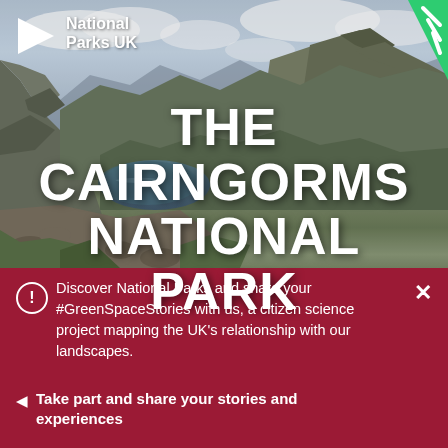[Figure (photo): Aerial panoramic photograph of Cairngorms National Park showing mountain peaks, a glacial loch/lake in a valley, rocky terrain with green/brown vegetation, and dramatic cloudy sky]
THE CAIRNGORMS NATIONAL PARK
Discover National Parks and share your #GreenSpaceStories with us, a citizen science project mapping the UK's relationship with our landscapes.
Take part and share your stories and experiences